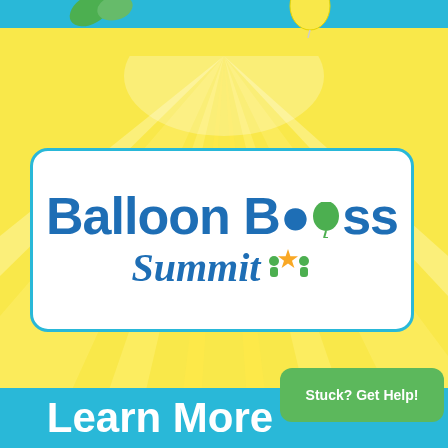[Figure (illustration): Top cyan/teal decorative bar with balloon decorations and green leaves visible at top edge]
[Figure (illustration): Yellow sunburst radiating rays background pattern on yellow background]
[Figure (logo): Balloon Boss Summit logo in white rounded rectangle with blue border. Text reads 'Balloon Boss' in large bold blue letters with a green balloon icon replacing the 'o' in Boss, and 'Summit' in italic blue with a star and person icons]
Stuck? Get Help!
Learn More